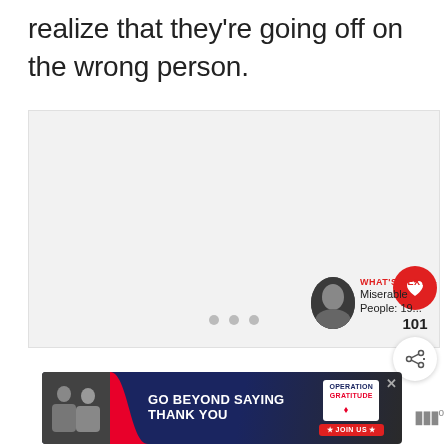realize that they're going off on the wrong person.
[Figure (photo): Large light gray image area with three small dots at the bottom center, and UI overlays: a red heart/like button showing 101, a share button, and a 'What's Next' preview thumbnail with label 'Miserable People: 19...']
[Figure (photo): Advertisement banner: 'GO BEYOND SAYING THANK YOU' with Operation Gratitude logo and 'JOIN US' button]